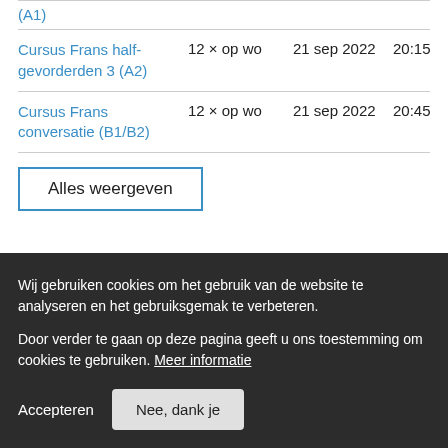(A1)
Cursus Frans half-gevorderden 3 (A2)	12 × op wo	21 sep 2022	20:15	€ 205,00
Cursus Frans conversatie (B1/B2)	12 × op wo	21 sep 2022	20:45	€ 205,00
Alles weergeven
Wij gebruiken cookies om het gebruik van de website te analyseren en het gebruiksgemak te verbeteren.
Door verder te gaan op deze pagina geeft u ons toestemming om cookies te gebruiken. Meer informatie
Accepteren	Nee, dank je